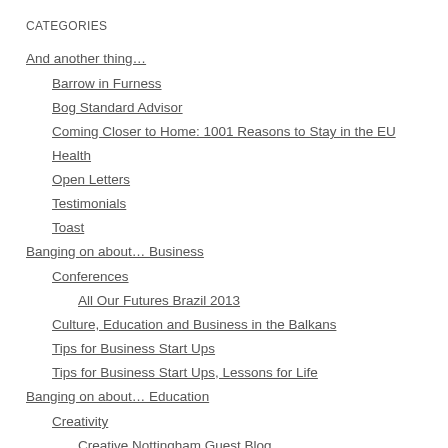CATEGORIES
And another thing…
Barrow in Furness
Bog Standard Advisor
Coming Closer to Home: 1001 Reasons to Stay in the EU
Health
Open Letters
Testimonials
Toast
Banging on about… Business
Conferences
All Our Futures Brazil 2013
Culture, Education and Business in the Balkans
Tips for Business Start Ups
Tips for Business Start Ups, Lessons for Life
Banging on about… Education
Creativity
Creative Nottingham Guest Blog